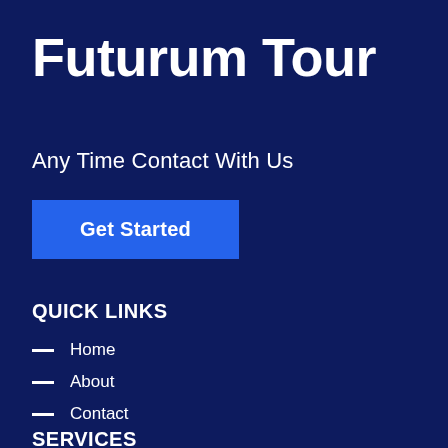Futurum Tour
Any Time Contact With Us
Get Started
QUICK LINKS
— Home
— About
— Contact
SERVICES